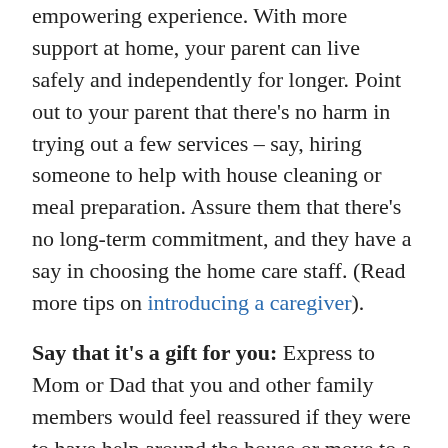empowering experience. With more support at home, your parent can live safely and independently for longer. Point out to your parent that there's no harm in trying out a few services – say, hiring someone to help with house cleaning or meal preparation. Assure them that there's no long-term commitment, and they have a say in choosing the home care staff. (Read more tips on introducing a caregiver).
Say that it's a gift for you: Express to Mom or Dad that you and other family members would feel reassured if they were to have help around the house or move to a safer environment. This may feel a bit manipulative, but many parents agree to accept help because they don't want their kids to worry. If you're already your parent's caregiver, talk about the benefits of respite care and how it allows families to enjoy more quality time together.
Get support from others: If you have siblings or